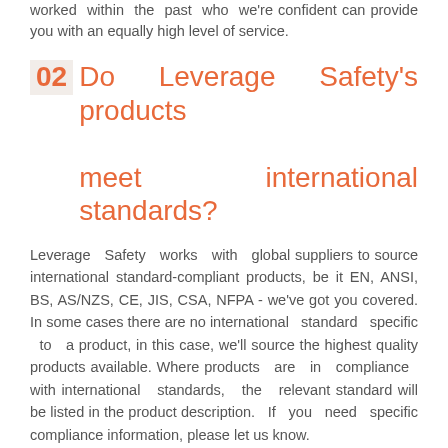worked within the past who we're confident can provide you with an equally high level of service.
02 Do Leverage Safety's products meet international standards?
Leverage Safety works with global suppliers to source international standard-compliant products, be it EN, ANSI, BS, AS/NZS, CE, JIS, CSA, NFPA - we've got you covered. In some cases there are no international standard specific to a product, in this case, we'll source the highest quality products available. Where products are in compliance with international standards, the relevant standard will be listed in the product description. If you need specific compliance information, please let us know.